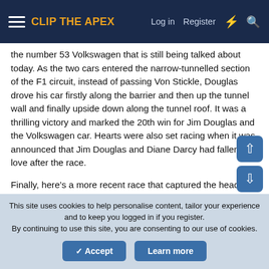CLIP THE APEX | Log in | Register
the number 53 Volkswagen that is still being talked about today. As the two cars entered the narrow-tunnelled section of the F1 circuit, instead of passing Von Stickle, Douglas drove his car firstly along the barrier and then up the tunnel wall and finally upside down along the tunnel roof. It was a thrilling victory and marked the 20th win for Jim Douglas and the Volkswagen car. Hearts were also set racing when it was announced that Jim Douglas and Diane Darcy had fallen in love after the race.
Finally, here’s a more recent race that captured the headlines for all the wrong reasons. Another type of racing that takes place in Monaco usually occurs one or two weeks prior to the F1 GP. The Historic Monaco Grand Prix takes in cars from all over the world and all eras of history. On this occasion the race featured a demonstration race involving cars that had raced in the IRL
This site uses cookies to help personalise content, tailor your experience and to keep you logged in if you register.
By continuing to use this site, you are consenting to our use of cookies.